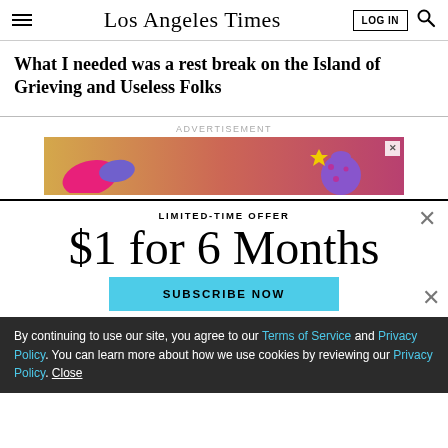Los Angeles Times
What I needed was a rest break on the Island of Grieving and Useless Folks
ADVERTISEMENT
[Figure (illustration): Advertisement banner with colorful fruit illustrations on a gradient pink/orange background]
LIMITED-TIME OFFER
$1 for 6 Months
SUBSCRIBE NOW
By continuing to use our site, you agree to our Terms of Service and Privacy Policy. You can learn more about how we use cookies by reviewing our Privacy Policy. Close